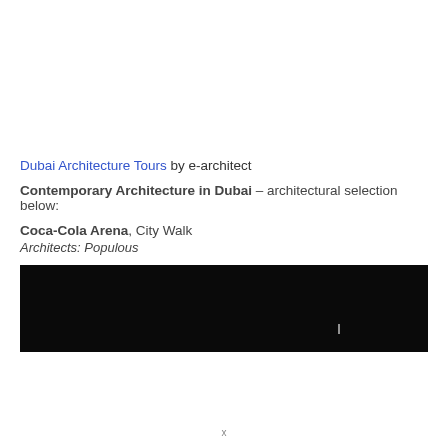Dubai Architecture Tours by e-architect
Contemporary Architecture in Dubai – architectural selection below:
Coca-Cola Arena, City Walk
Architects: Populous
[Figure (photo): Night photograph of Coca-Cola Arena at City Walk, Dubai — a very dark image showing the arena exterior against a black sky with a faint narrow light element visible]
x